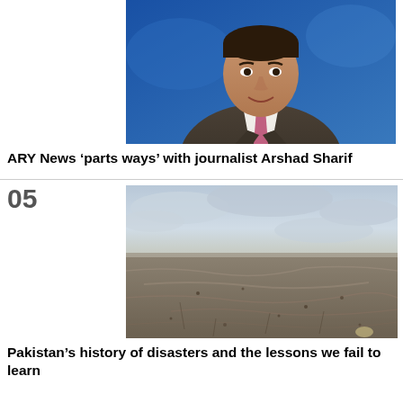[Figure (photo): A man in a dark suit and pink/purple tie smiling in front of a blue background, appearing to be a TV news anchor or journalist]
ARY News ‘parts ways’ with journalist Arshad Sharif
[Figure (photo): Aerial view of flooded landscape with muddy brown water covering flat terrain, with cloudy sky in background]
Pakistan’s history of disasters and the lessons we fail to learn